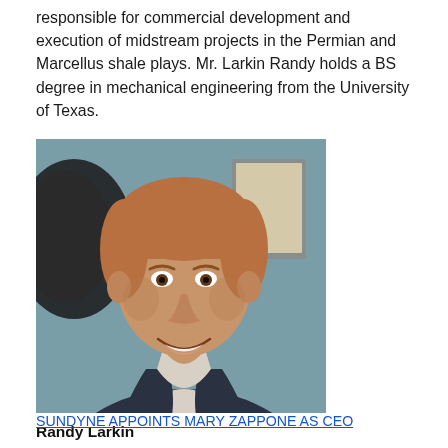responsible for commercial development and execution of midstream projects in the Permian and Marcellus shale plays. Mr. Larkin Randy holds a BS degree in mechanical engineering from the University of Texas.
[Figure (photo): Professional headshot of Randy Larkin, a middle-aged man with short reddish-brown hair, smiling, wearing a dark plaid blazer and light button-up shirt, photographed indoors with a teal/grey background and a circular mirror and framed artwork visible behind him.]
Randy Larkin
SUNDYNE APPOINTS MARY ZAPPONE AS CEO